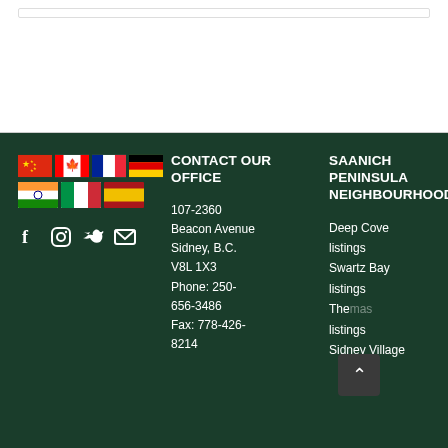[Figure (other): White top section with a thin horizontal bar/search field near the top]
[Figure (other): Flag icons: Chinese, Canadian, French, German (top row); Indian, Italian, Spanish (bottom row)]
[Figure (other): Social media icons: Facebook, Instagram, Twitter, Email on dark green background]
CONTACT OUR OFFICE
107-2360 Beacon Avenue Sidney, B.C. V8L 1X3 Phone: 250-656-3486 Fax: 778-426-8214
SAANICH PENINSULA NEIGHBOURHOODS
Deep Cove listings
Swartz Bay listings
The [Thomas] listings
Sidney Village